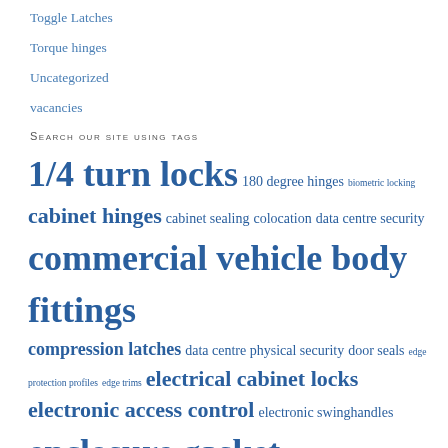Toggle Latches
Torque hinges
Uncategorized
vacancies
Search our site using tags
1/4 turn locks 180 degree hinges biometric locking cabinet hinges cabinet sealing colocation data centre security commercial vehicle body fittings compression latches data centre physical security door seals edge protection profiles edge trims electrical cabinet locks electronic access control electronic swinghandles enclosure gasket enclosure gaskets enclosure handles enclosure hardware enclosure hinges enclosure locks enclosure sealing EPDM sealing strips extruded gaskets extruded rubber gaskets